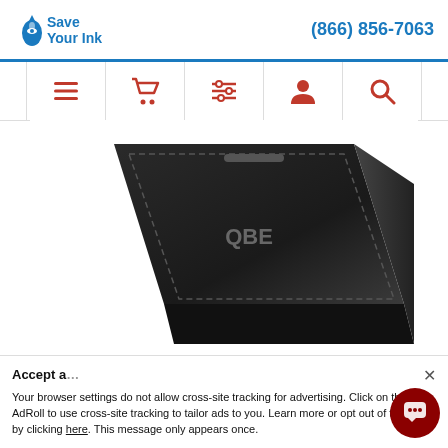Save Your Ink | (866) 856-7063
[Figure (screenshot): Navigation bar with icons: hamburger menu, shopping cart, filter/list, user profile, search]
[Figure (photo): Collapsible 2-in-1 Trunk Organizer/Cooler product image showing a dark foldable trunk organizer with QBE logo visible]
☆☆☆☆☆
Collapsible 2-in-1 Trunk Organizer/Cooler
Prices From $ 27.22 to $ 33.61
Your browser settings do not allow cross-site tracking for advertising. Click on this AdRoll to use cross-site tracking to tailor ads to you. Learn more or opt out of this AdRoll by clicking here. This message only appears once.